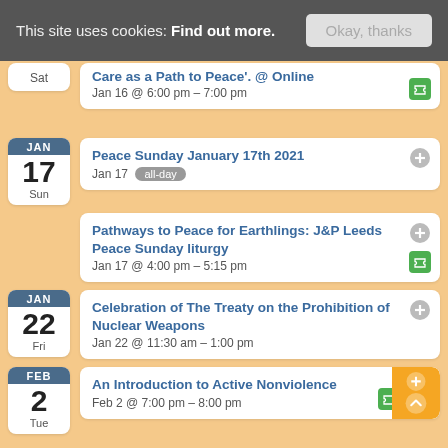This site uses cookies: Find out more. Okay, thanks
Care as a Path to Peace'. @ Online
Jan 16 @ 6:00 pm – 7:00 pm
Peace Sunday January 17th 2021
Jan 17 all-day
Pathways to Peace for Earthlings: J&P Leeds Peace Sunday liturgy
Jan 17 @ 4:00 pm – 5:15 pm
Celebration of The Treaty on the Prohibition of Nuclear Weapons
Jan 22 @ 11:30 am – 1:00 pm
An Introduction to Active Nonviolence
Feb 2 @ 7:00 pm – 8:00 pm